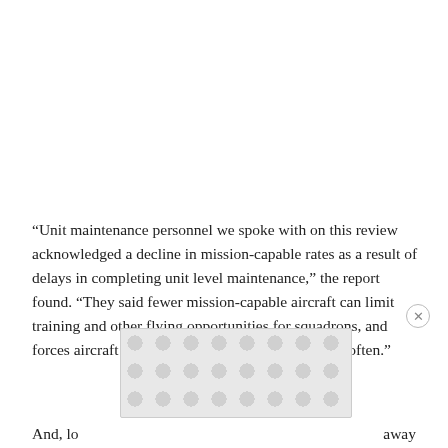“Unit maintenance personnel we spoke with on this review acknowledged a decline in mission-capable rates as a result of delays in completing unit level maintenance,” the report found. “They said fewer mission-capable aircraft can limit training and other flying opportunities for squadrons, and forces aircraft that are mission capable to fly more often.”
[Figure (other): Advertisement overlay with circular dot pattern background and close button]
And, lo[...] away